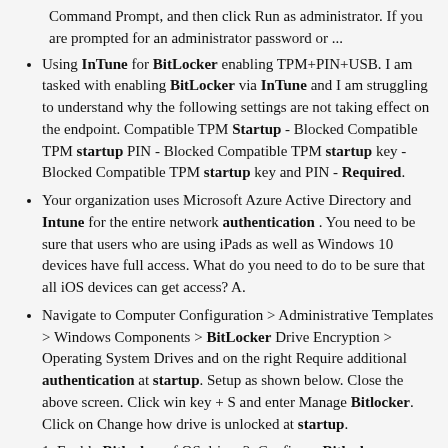Command Prompt, and then click Run as administrator. If you are prompted for an administrator password or ...
Using InTune for BitLocker enabling TPM+PIN+USB. I am tasked with enabling BitLocker via InTune and I am struggling to understand why the following settings are not taking effect on the endpoint. Compatible TPM Startup - Blocked Compatible TPM startup PIN - Blocked Compatible TPM startup key - Blocked Compatible TPM startup key and PIN - Required.
Your organization uses Microsoft Azure Active Directory and Intune for the entire network authentication . You need to be sure that users who are using iPads as well as Windows 10 devices have full access. What do you need to do to be sure that all iOS devices can get access? A.
Navigate to Computer Configuration > Administrative Templates > Windows Components > BitLocker Drive Encryption > Operating System Drives and on the right Require additional authentication at startup. Setup as shown below. Close the above screen. Click win key + S and enter Manage Bitlocker. Click on Change how drive is unlocked at startup.
1. Enable Bitlocker of OS drive. 2. Configure Bitlocker automatically and silently without any kind of user interaction. Give the profile a nice name. For the BitLocker - Base Settings, set Hide prompt about third-party encryption